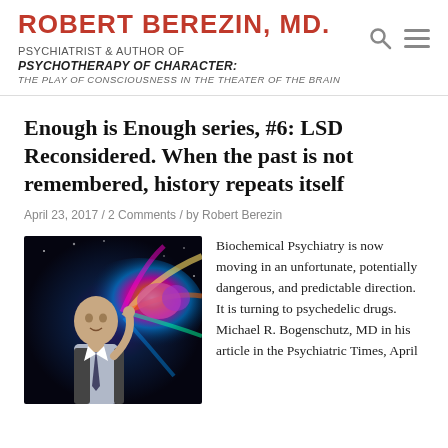ROBERT BEREZIN, MD. PSYCHIATRIST & AUTHOR OF PSYCHOTHERAPY OF CHARACTER: THE PLAY OF CONSCIOUSNESS IN THE THEATER OF THE BRAIN
Enough is Enough series, #6: LSD Reconsidered. When the past is not remembered, history repeats itself
April 23, 2017 / 2 Comments / by Robert Berezin
[Figure (photo): A man in a suit and tie holds his head as a colorful psychedelic explosion of color and imagery bursts from his head against a dark cosmic background]
Biochemical Psychiatry is now moving in an unfortunate, potentially dangerous, and predictable direction. It is turning to psychedelic drugs. Michael R. Bogenschutz, MD in his article in the Psychiatric Times, April